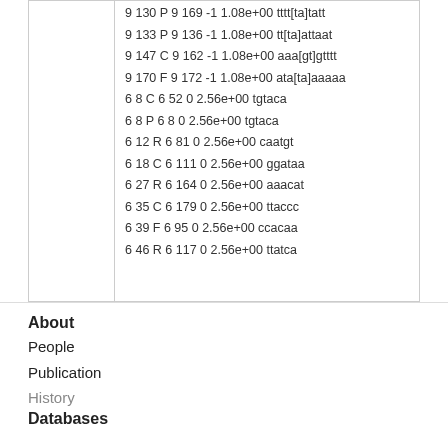9 130 P 9 169 -1 1.08e+00 tttt[ta]tatt
9 133 P 9 136 -1 1.08e+00 tt[ta]attaat
9 147 C 9 162 -1 1.08e+00 aaa[gt]gtttt
9 170 F 9 172 -1 1.08e+00 ata[ta]aaaaa
6 8 C 6 52 0 2.56e+00 tgtaca
6 8 P 6 8 0 2.56e+00 tgtaca
6 12 R 6 81 0 2.56e+00 caatgt
6 18 C 6 111 0 2.56e+00 ggataa
6 27 R 6 164 0 2.56e+00 aaacat
6 35 C 6 179 0 2.56e+00 ttaccc
6 39 F 6 95 0 2.56e+00 ccacaa
6 46 R 6 117 0 2.56e+00 ttatca
About
People
Publication
History
Databases